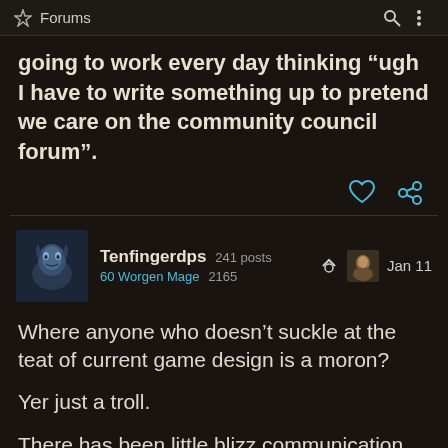Forums
going to work every day thinking “ugh I have to write something up to pretend we care on the community council forum”.
Tenfingerdps  241 posts  60 Worgen Mage  2165  Jan 11
Where anyone who doesn’t suckle at the teat of current game design is a moron?

Yer just a troll.

There has been little blizz communication. Lying about it doesn’t make it so.
186 / 213